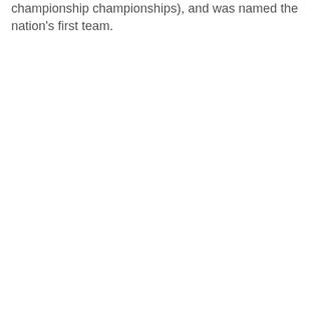championship championships), and was named the nation's first team.